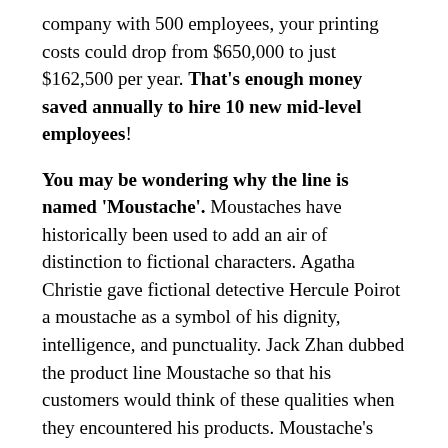company with 500 employees, your printing costs could drop from $650,000 to just $162,500 per year. That's enough money saved annually to hire 10 new mid-level employees!
You may be wondering why the line is named 'Moustache'. Moustaches have historically been used to add an air of distinction to fictional characters. Agatha Christie gave fictional detective Hercule Poirot a moustache as a symbol of his dignity, intelligence, and punctuality. Jack Zhan dubbed the product line Moustache so that his customers would think of these qualities when they encountered his products. Moustache's products live up to the name. They are compatible with over 5,000 models from brands like Brother, Canon, Epson, Hewlett Packard (HP), Samsung and Xerox; are certified by multiple industrial standards; and consistently outperform the competition.